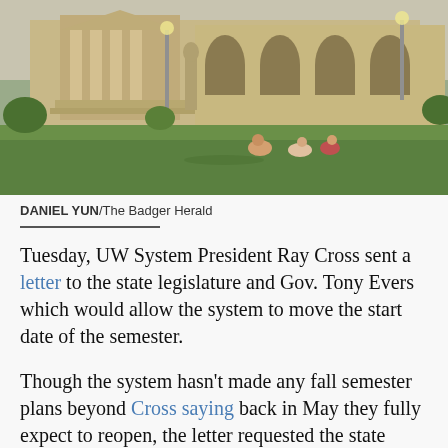[Figure (photo): Outdoor photo of a university building campus with students sitting on the grass lawn in front of a classical stone building with arches and a statue]
DANIEL YUN/The Badger Herald
Tuesday, UW System President Ray Cross sent a letter to the state legislature and Gov. Tony Evers which would allow the system to move the start date of the semester.
Though the system hasn't made any fall semester plans beyond Cross saying back in May they fully expect to reopen, the letter requested the state legislature allow the system's schools' flexibility to shift the start of their fall term. Right now, the UW System schools cannot start until September 1,